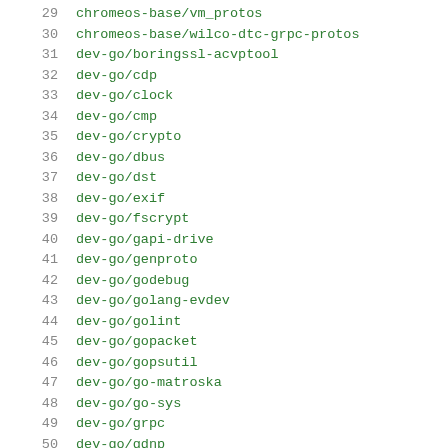29    chromeos-base/vm_protos
30    chromeos-base/wilco-dtc-grpc-protos
31    dev-go/boringssl-acvptool
32    dev-go/cdp
33    dev-go/clock
34    dev-go/cmp
35    dev-go/crypto
36    dev-go/dbus
37    dev-go/dst
38    dev-go/exif
39    dev-go/fscrypt
40    dev-go/gapi-drive
41    dev-go/genproto
42    dev-go/godebug
43    dev-go/golang-evdev
44    dev-go/golint
45    dev-go/gopacket
46    dev-go/gopsutil
47    dev-go/go-matroska
48    dev-go/go-sys
49    dev-go/grpc
50    dev-go/gdnp